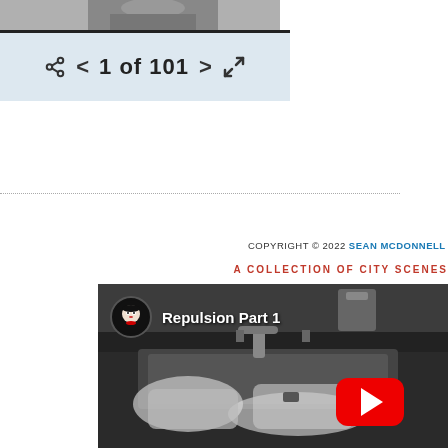[Figure (photo): Partial view of a person photograph, bottom portion visible at top of page]
[Figure (screenshot): Image navigation bar with share icon, left arrow, '1 of 101' text, right arrow, and expand icon, on a light blue background]
COPYRIGHT © 2022 SEAN MCDONNELL ALL RIGHT
A COLLECTION OF CITY SCENES
[Figure (screenshot): YouTube video thumbnail titled 'Repulsion Part 1' showing a black and white scene of hands at a sink, with a YouTube play button overlay and a doll channel icon]